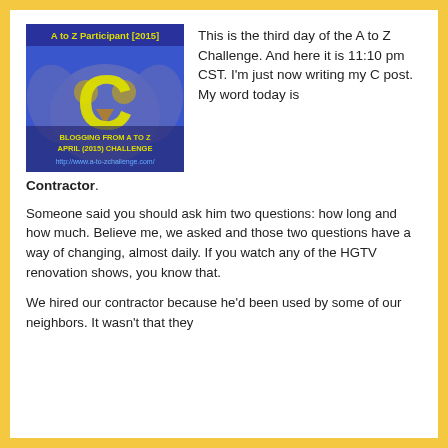[Figure (illustration): A to Z Participant [2015] badge showing a large yellow letter C on a blue background with an owl, text reading BLOGGING FROM A TO Z APRIL (2015) CHALLENGE and http://www.a-to-zchallenge.com/]
This is the third day of the A to Z Challenge. And here it is 11:10 pm CST. I'm just now writing my C post.  My word today is Contractor.
Someone said you should ask him two questions: how long and how much. Believe me, we asked and those two questions have a way of changing, almost daily. If you watch any of the HGTV renovation shows, you know that.
We hired our contractor because he'd been used by some of our neighbors. It wasn't that they